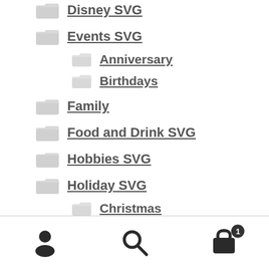Disney SVG
Events SVG
Anniversary
Birthdays
Family
Food and Drink SVG
Hobbies SVG
Holiday SVG
Christmas
[Figure (infographic): Bottom navigation bar with user/account icon, search icon, and shopping cart icon with badge showing count 1]